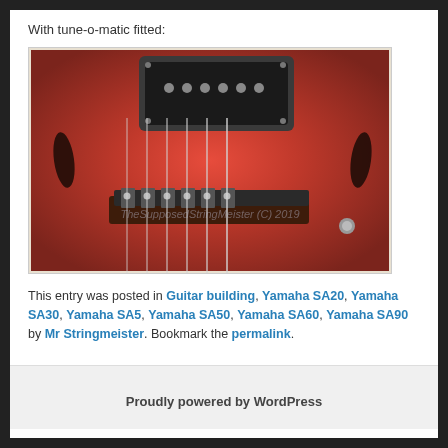With tune-o-matic fitted:
[Figure (photo): Close-up photo of a red semi-hollow electric guitar body showing a tune-o-matic bridge and humbucker pickup with strings, watermark reads 'TheSupposedStringMeister (C) 2019']
This entry was posted in Guitar building, Yamaha SA20, Yamaha SA30, Yamaha SA5, Yamaha SA50, Yamaha SA60, Yamaha SA90 by Mr Stringmeister. Bookmark the permalink.
Proudly powered by WordPress